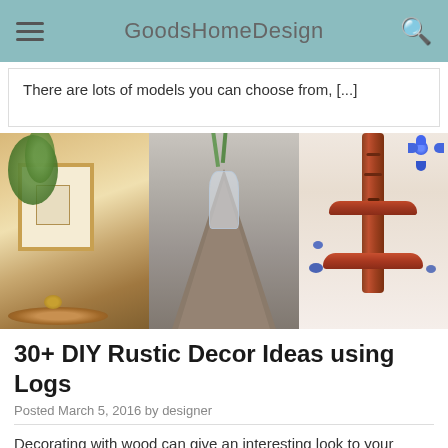GoodsHomeDesign
There are lots of models you can choose from, [...]
[Figure (photo): Three-panel image strip showing rustic wooden decor pieces: a wooden slice shelf with plant, a driftwood wall vase with purple flowers, and a red cedar two-tier shelf unit.]
30+ DIY Rustic Decor Ideas using Logs
Posted March 5, 2016 by designer
Decorating with wood can give an interesting look to your home and change the entire look of your interior. To create decorative